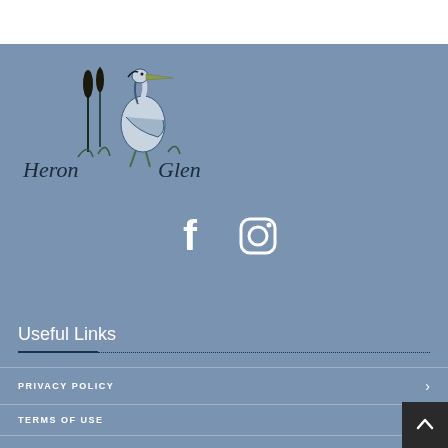[Figure (logo): Heron Glen golf course logo with a heron bird illustration and cursive text reading 'Heron Glen']
[Figure (illustration): Social media icons: Facebook and Instagram in white on a blue-grey background]
Useful Links
PRIVACY POLICY
TERMS OF USE
ONLINE PRO SHOP